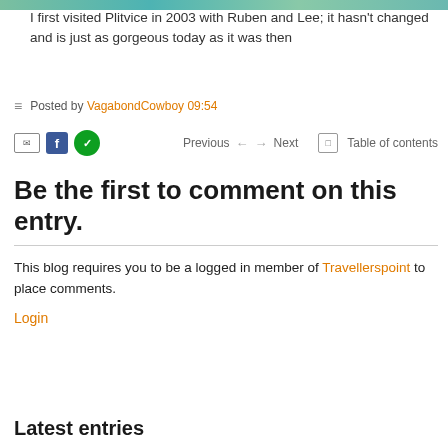[Figure (photo): Partial view of a nature/water scene at Plitvice, teal and green tones, cropped at top]
I first visited Plitvice in 2003 with Ruben and Lee; it hasn't changed and is just as gorgeous today as it was then
Posted by VagabondCowboy 09:54
Previous ← → Next Table of contents
Be the first to comment on this entry.
This blog requires you to be a logged in member of Travellerspoint to place comments.
Login
Latest entries